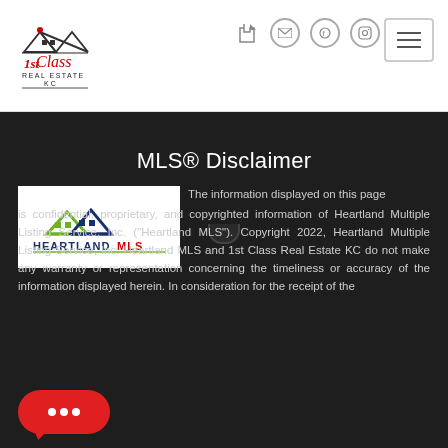[Figure (logo): 1st Class Real Estate KC company logo — house outline with mountain peaks, red cursive '1st Class' text and 'REAL ESTATE KC' in dark blue block letters]
[Figure (logo): Heartland MLS logo — green and dark blue overlapping house triangle shapes with 'HEARTLAND MLS' text below]
MLS® Disclaimer
The information displayed on this page is confidential, proprietary, and copyrighted information of Heartland Multiple Listing Service, Inc. ("Heartland MLS"). Copyright 2022, Heartland Multiple Listing Service, Inc. Heartland MLS and 1st Class Real Estate KC do not make any warranty or representation concerning the timeliness or accuracy of the information displayed herein. In consideration for the receipt of the